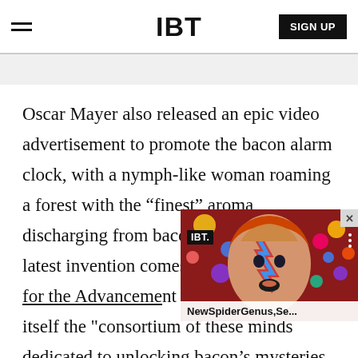IBT | SIGN UP
Oscar Mayer also released an epic video advertisement to promote the bacon alarm clock, with a nymph-like woman roaming a forest with the “finest” aroma discharging from bacon flowers. The latest invention comes from the Oscar Mayer Institute for the Advancement of Bacon, calling itself the "consortium of the world’s greatest minds dedicated to unlocking bacon’s mysteries for the benefit of bacon lovers everywhere."
[Figure (screenshot): IBT video overlay showing a person with Ziggy Stardust-style face paint against a dark red background with colorful circles. Title bar reads 'NewSpiderGenus,Se...']